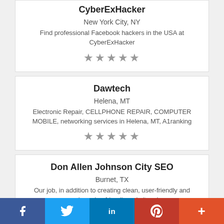CyberExHacker
New York City, NY
Find professional Facebook hackers in the USA at CyberExHacker
★★★★★
Dawtech
Helena, MT
Electronic Repair, CELLPHONE REPAIR, COMPUTER MOBILE, networking services in Helena, MT, A1ranking
★★★★★
Don Allen Johnson City SEO
Burnet, TX
Our job, in addition to creating clean, user-friendly and search engine friendly websites, is
f  Twitter  in  Pinterest  +